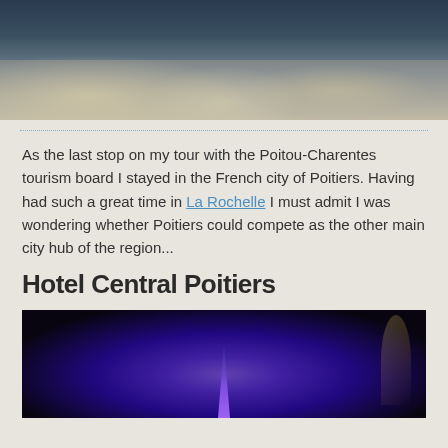[Figure (photo): Night-time photograph of a French city square (Poitiers) with illuminated buildings and decorative lighting on the ground.]
As the last stop on my tour with the Poitou-Charentes tourism board I stayed in the French city of Poitiers. Having had such a great time in La Rochelle I must admit I was wondering whether Poitiers could compete as the other main city hub of the region...
Hotel Central Poitiers
[Figure (photo): Night photograph of an illuminated purple church or cathedral tower against a dark sky.]